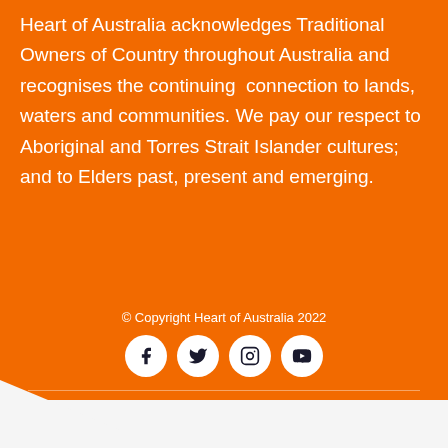Heart of Australia acknowledges Traditional Owners of Country throughout Australia and recognises the continuing  connection to lands, waters and communities. We pay our respect to Aboriginal and Torres Strait Islander cultures; and to Elders past, present and emerging.
© Copyright Heart of Australia 2022
[Figure (infographic): Four social media icon buttons (Facebook, Twitter, Instagram, YouTube) in white circles on orange background]
SUBSCRIBE TO NEWSLETTER
Email [input field] SUBSCRIBE [button]